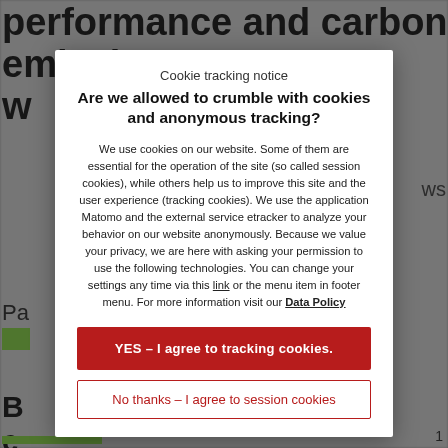Cookie tracking notice
Are we allowed to crumble with cookies and anonymous tracking?
We use cookies on our website. Some of them are essential for the operation of the site (so called session cookies), while others help us to improve this site and the user experience (tracking cookies). We use the application Matomo and the external service etracker to analyze your behavior on our website anonymously. Because we value your privacy, we are here with asking your permission to use the following technologies. You can change your settings any time via this link or the menu item in footer menu. For more information visit our Data Policy
YES – I agree to tracking cookies.
No thanks – I agree to session cookies